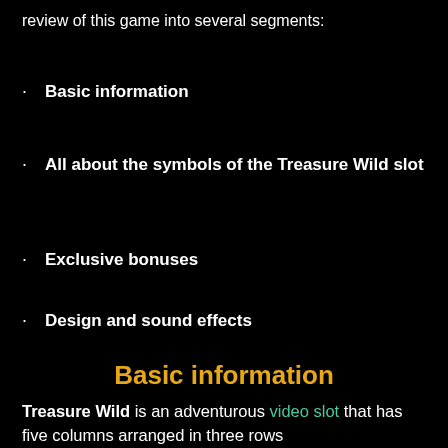review of this game into several segments:
· Basic information
· All about the symbols of the Treasure Wild slot
· Exclusive bonuses
· Design and sound effects
Basic information
Treasure Wild is an adventurous video slot that has five columns arranged in three rows